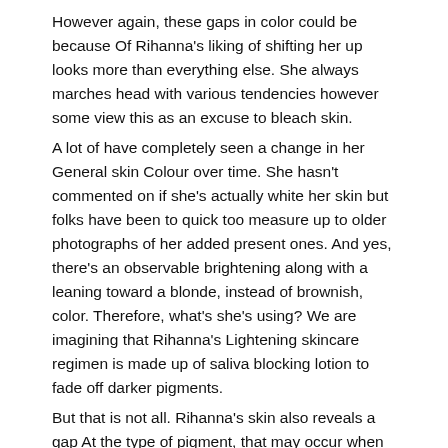However again, these gaps in color could be because Of Rihanna's liking of shifting her up looks more than everything else. She always marches head with various tendencies however some view this as an excuse to bleach skin.
A lot of have completely seen a change in her General skin Colour over time. She hasn't commented on if she's actually white her skin but folks have been to quick too measure up to older photographs of her added present ones. And yes, there's an observable brightening along with a leaning toward a blonde, instead of brownish, color. Therefore, what's she's using? We are imagining that Rihanna's Lightening skincare regimen is made up of saliva blocking lotion to fade off darker pigments.
But that is not all. Rihanna's skin also reveals a gap At the type of pigment, that may occur when shooting Glutathione to modify the metabolic pathway of saliva from synthesizing dark, black or brown pigmented melanin (eumelanin) to generating mild, pink or reddish pigmented melanin (phaeomelanin).
Beyonce Skin Lightening
[Figure (photo): Dark background photo on the left, partial face or figure; smaller brownish/tan image on the right]